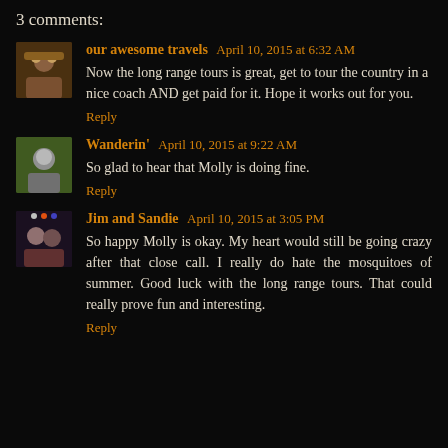3 comments:
our awesome travels April 10, 2015 at 6:32 AM
Now the long range tours is great, get to tour the country in a nice coach AND get paid for it. Hope it works out for you.
Reply
Wanderin' April 10, 2015 at 9:22 AM
So glad to hear that Molly is doing fine.
Reply
Jim and Sandie April 10, 2015 at 3:05 PM
So happy Molly is okay. My heart would still be going crazy after that close call. I really do hate the mosquitoes of summer. Good luck with the long range tours. That could really prove fun and interesting.
Reply